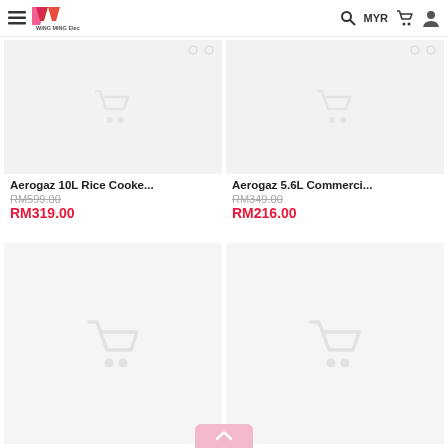Wing Ming Electrical — MYR
[Figure (screenshot): Product card: Aerogaz 10L Rice Cooke... Original price RM599.00, Sale price RM319.00]
[Figure (screenshot): Product card: Aerogaz 5.6L Commerci... Original price RM349.00, Sale price RM216.00]
[Figure (screenshot): Product card placeholder with shopping cart icon (bottom left)]
[Figure (screenshot): Product card placeholder with shopping cart icon (bottom right)]